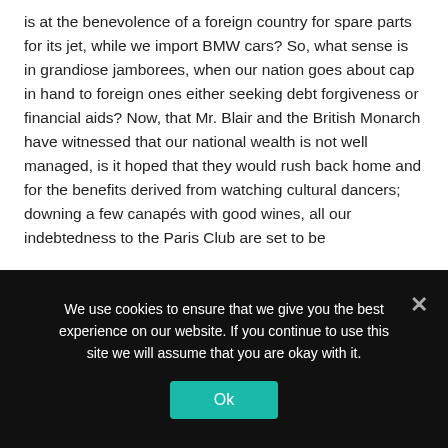is at the benevolence of a foreign country for spare parts for its jet, while we import BMW cars? So, what sense is in grandiose jamborees, when our nation goes about cap in hand to foreign ones either seeking debt forgiveness or financial aids? Now, that Mr. Blair and the British Monarch have witnessed that our national wealth is not well managed, is it hoped that they would rush back home and for the benefits derived from watching cultural dancers; downing a few canapés with good wines, all our indebtedness to the Paris Club are set to be
We use cookies to ensure that we give you the best experience on our website. If you continue to use this site we will assume that you are okay with it.